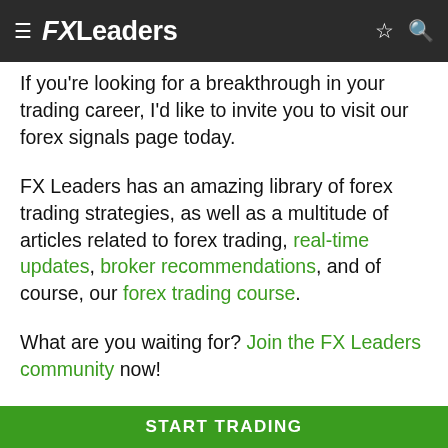FXLeaders
If you're looking for a breakthrough in your trading career, I'd like to invite you to visit our forex signals page today.
FX Leaders has an amazing library of forex trading strategies, as well as a multitude of articles related to forex trading, real-time updates, broker recommendations, and of course, our forex trading course.
What are you waiting for? Join the FX Leaders community now!
Thank you for visiting the FX Leaders website. Good luck with your trading!
START TRADING